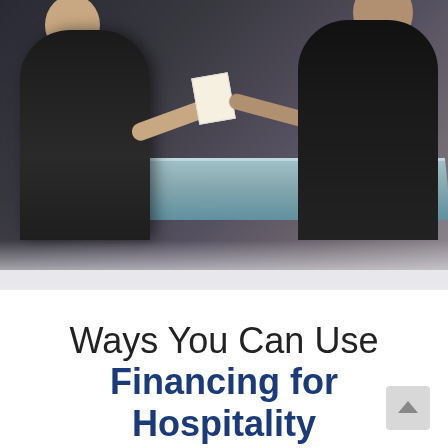[Figure (photo): Two men in dark suits at a hotel reception desk. One man (guest, back to viewer) reaches across a glass-topped counter to hand or receive a document/receipt from the other man (receptionist). Background shows a hotel lobby with decorative drapes or lighting elements.]
Ways You Can Use Financing for Hospitality